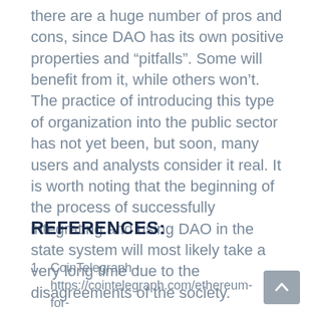there are a huge number of pros and cons, since DAO has its own positive properties and “pitfalls”. Some will benefit from it, while others won’t. The practice of introducing this type of organization into the public sector has not yet been, but soon, many users and analysts consider it real. It is worth noting that the beginning of the process of successfully integrating and using DAO in the state system will most likely take a very long time due to the disagreements of the society.
REFERENCES:
1. CoinTelegraph - https://cointelegraph.com/ethereum-for-beginners/what-is-a-decentralized-autonomous-